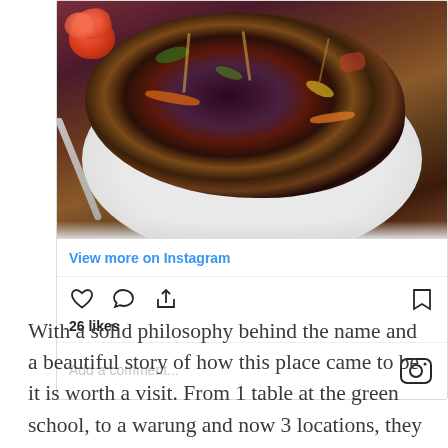[Figure (photo): Instagram post screenshot showing a plate of purple/black rice dish with vegetables and garnishes including a carved tomato rose. The card shows 'View more on Instagram' link, heart/comment/share icons, bookmark icon, 26 likes, and a comment input field with Instagram logo.]
With a solid philosophy behind the name and a beautiful story of how this place came to be it is worth a visit. From 1 table at the green school, to a warung and now 3 locations, they have expanded very well! Living Food Lab